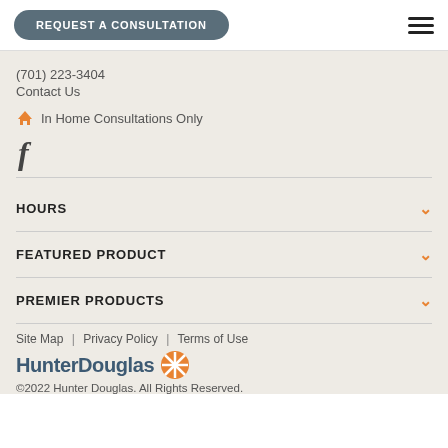REQUEST A CONSULTATION
(701) 223-3404
Contact Us
In Home Consultations Only
f
HOURS
FEATURED PRODUCT
PREMIER PRODUCTS
Site Map | Privacy Policy | Terms of Use
HunterDouglas
©2022 Hunter Douglas. All Rights Reserved.